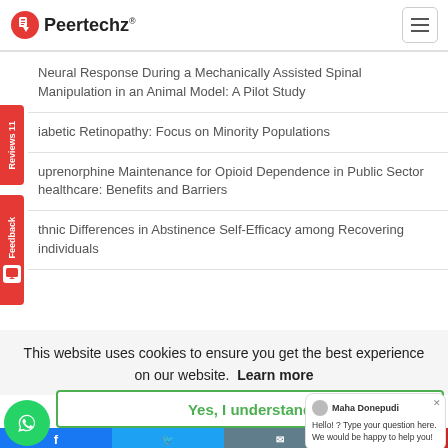Peertechz
Neural Response During a Mechanically Assisted Spinal Manipulation in an Animal Model: A Pilot Study
iabetic Retinopathy: Focus on Minority Populations
uprenorphine Maintenance for Opioid Dependence in Public Sector healthcare: Benefits and Barriers
thnic Differences in Abstinence Self-Efficacy among Recovering individuals
This website uses cookies to ensure you get the best experience on our website. Learn more
Yes, I understand
Hello! ? Type your question here. We would be happy to help you!